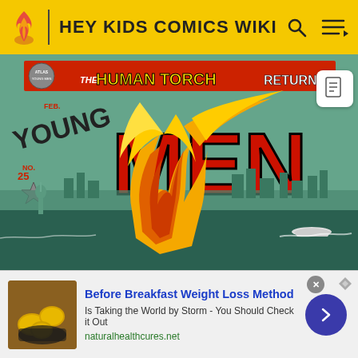HEY KIDS COMICS WIKI
[Figure (illustration): Comic book cover: Young Men No. 25, February issue. Atlas Comics. Title reads 'THE HUMAN TORCH RETURNS' at top, 'YOUNG MEN' in large red letters. Shows the Human Torch flying over a city skyline with the Statue of Liberty visible, flames trailing behind. Priced at 10 cents. Teal/green background.]
Before Breakfast Weight Loss Method
Is Taking the World by Storm - You Should Check it Out
naturalhealthcures.net